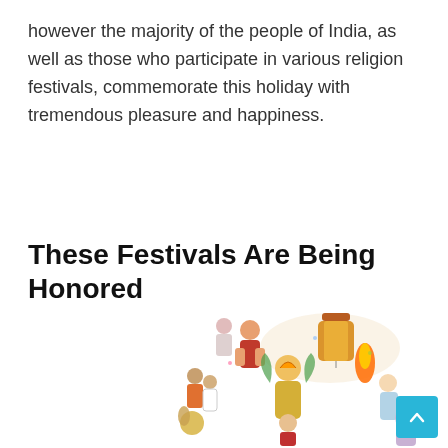however the majority of the people of India, as well as those who participate in various religion festivals, commemorate this holiday with tremendous pleasure and happiness.
These Festivals Are Being Honored
[Figure (illustration): A colorful illustrated scene showing multiple people celebrating Indian festivals, including children, adults, deities, and figures carrying lanterns and participating in various religious festivals. Includes a figure resembling a Hindu goddess, Ganesha, and various festival participants.]